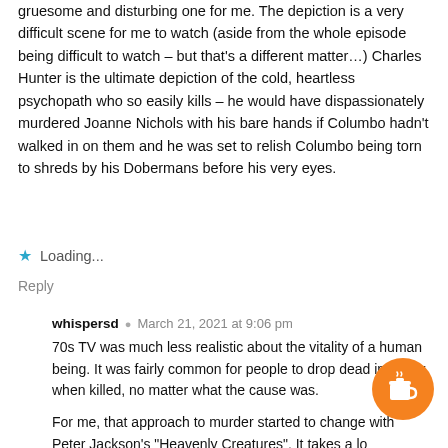gruesome and disturbing one for me. The depiction is a very difficult scene for me to watch (aside from the whole episode being difficult to watch – but that's a different matter…) Charles Hunter is the ultimate depiction of the cold, heartless psychopath who so easily kills – he would have dispassionately murdered Joanne Nichols with his bare hands if Columbo hadn't walked in on them and he was set to relish Columbo being torn to shreds by his Dobermans before his very eyes.
★ Loading...
Reply
whispersd • March 21, 2021 at 9:06 pm
70s TV was much less realistic about the vitality of a human being. It was fairly common for people to drop dead instantly when killed, no matter what the cause was.
For me, that approach to murder started to change with Peter Jackson's "Heavenly Creatures". It takes a long time Kate Winslet and Melanie Lysensky to do in their victim. One bonk on the head doesn't suffice.
[Figure (illustration): Orange circular button with a coffee cup icon (Buy Me a Coffee style widget)]